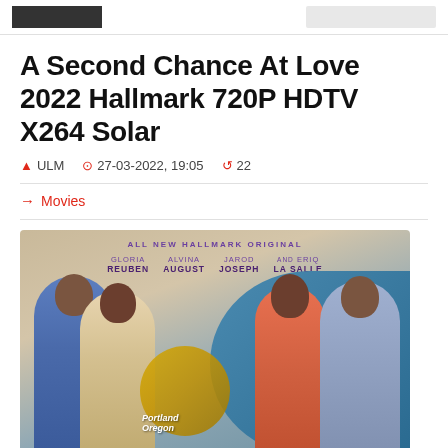A Second Chance At Love 2022 Hallmark 720P HDTV X264 Solar
ULM  27-03-2022, 19:05  22
Movies
[Figure (photo): Movie poster for 'A Second Chance At Love' (2022 Hallmark Original) showing cast members Gloria Reuben, Alvina August, Jarod Joseph, and Eriq La Salle. Shows two couples against a Portland, Oregon backdrop.]